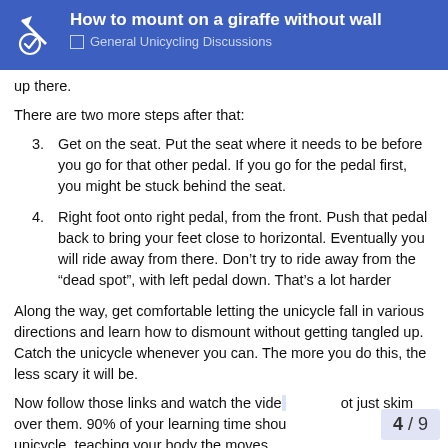How to mount on a giraffe without wall — General Unicycling Discussions
up there.
There are two more steps after that:
3. Get on the seat. Put the seat where it needs to be before you go for that other pedal. If you go for the pedal first, you might be stuck behind the seat.
4. Right foot onto right pedal, from the front. Push that pedal back to bring your feet close to horizontal. Eventually you will ride away from there. Don’t try to ride away from the “dead spot”, with left pedal down. That’s a lot harder
Along the way, get comfortable letting the unicycle fall in various directions and learn how to dismount without getting tangled up. Catch the unicycle whenever you can. The more you do this, the less scary it will be.
Now follow those links and watch the videos, don’t just skim over them. 90% of your learning time shou... unicycle, teaching your body the moves.
4 / 9